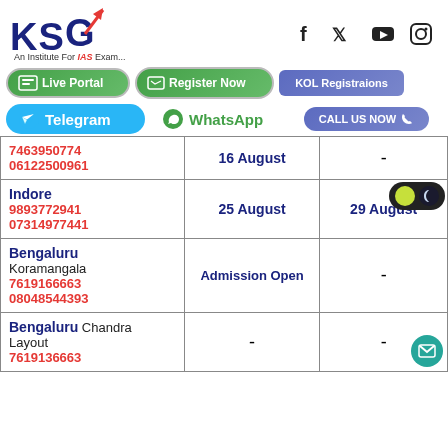[Figure (logo): KSG logo with red upward arrow, text 'An Institute For IAS Exam...']
[Figure (infographic): Social media icons: Facebook, Twitter, YouTube, Instagram]
[Figure (infographic): Navigation buttons: Live Portal, Register Now, KOL Registraions]
[Figure (infographic): Contact buttons: Telegram, WhatsApp, CALL US NOW]
| Location/Contact | Batch Start | Orientation |
| --- | --- | --- |
| 7463950774
06122500961 | 16 August | - |
| Indore
9893772941
07314977441 | 25 August | 29 August |
| Bengaluru
Koramangala
7619166663
08048544393 | Admission Open | - |
| Bengaluru Chandra Layout
7619136663 | - | - |